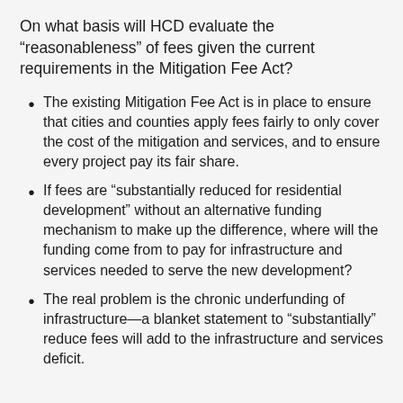On what basis will HCD evaluate the “reasonableness” of fees given the current requirements in the Mitigation Fee Act?
The existing Mitigation Fee Act is in place to ensure that cities and counties apply fees fairly to only cover the cost of the mitigation and services, and to ensure every project pay its fair share.
If fees are “substantially reduced for residential development” without an alternative funding mechanism to make up the difference, where will the funding come from to pay for infrastructure and services needed to serve the new development?
The real problem is the chronic underfunding of infrastructure—a blanket statement to “substantially” reduce fees will add to the infrastructure and services deficit.